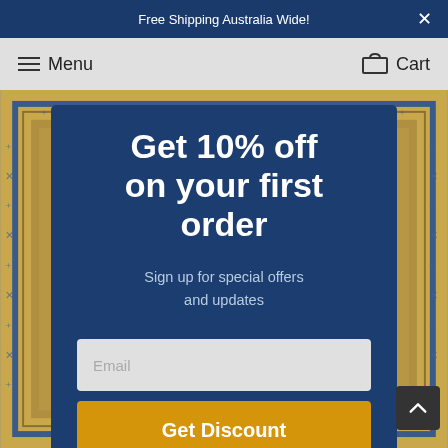Free Shipping Australia Wide!
Menu   Cart
[Figure (photo): Decorative rug with blue and gold geometric border pattern as background]
Get 10% off on your first order
Sign up for special offers and updates
Email
Get Discount